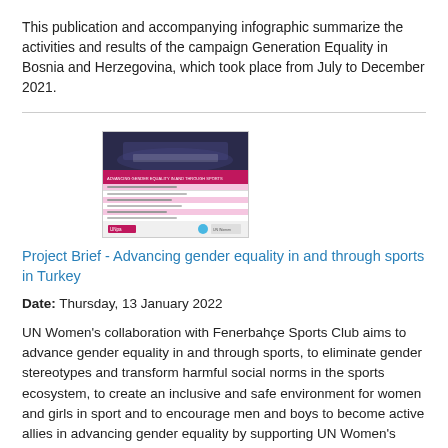This publication and accompanying infographic summarize the activities and results of the campaign Generation Equality in Bosnia and Herzegovina, which took place from July to December 2021.
[Figure (other): Thumbnail image of a project brief document about advancing gender equality in and through sports in Turkey, showing a sports arena photo at the top and pink/white text content below with logos at the bottom.]
Project Brief - Advancing gender equality in and through sports in Turkey
Date: Thursday, 13 January 2022
UN Women's collaboration with Fenerbahçe Sports Club aims to advance gender equality in and through sports, to eliminate gender stereotypes and transform harmful social norms in the sports ecosystem, to create an inclusive and safe environment for women and girls in sport and to encourage men and boys to become active allies in advancing gender equality by supporting UN Women's HeForShe Movement.